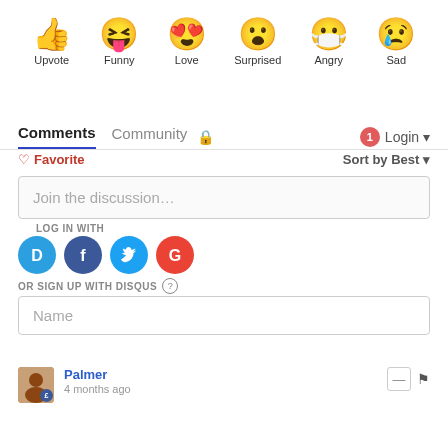[Figure (illustration): Row of six reaction emoji icons with labels: Upvote (thumbs up), Funny (laughing face with tongue), Love (heart eyes), Surprised (surprised face), Angry (masked crying face), Sad (sad face with tear)]
Comments  Community  🔒  1  Login
♡ Favorite    Sort by Best
Join the discussion...
LOG IN WITH
[Figure (logo): Four social login icons: Disqus (D), Facebook (f), Twitter (bird), Google (G)]
OR SIGN UP WITH DISQUS ?
Name
Palmer
4 months ago